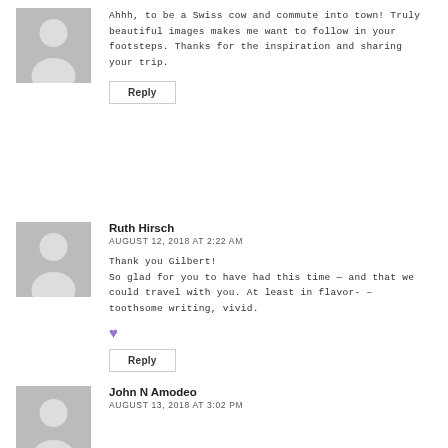[Figure (illustration): Gray placeholder avatar silhouette for first commenter]
Ahhh, to be a Swiss cow and commute into town! Truly beautiful images makes me want to follow in your footsteps. Thanks for the inspiration and sharing your trip.
Reply
[Figure (illustration): Gray placeholder avatar silhouette for Ruth Hirsch]
Ruth Hirsch
AUGUST 12, 2018 AT 2:22 AM
Thank you Gilbert!
So glad for you to have had this time — and that we could travel with you. At least in flavor- – toothsome writing, vivid.
♥
Reply
[Figure (illustration): Gray placeholder avatar silhouette for John N Amodeo]
John N Amodeo
AUGUST 13, 2018 AT 3:02 PM